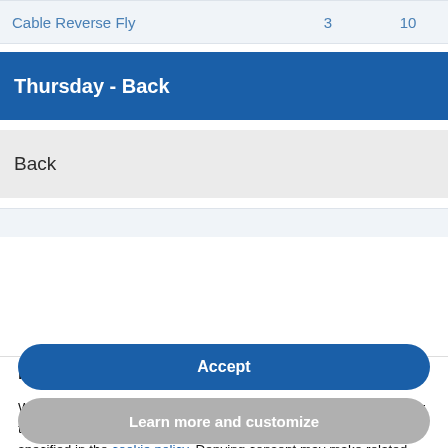| Exercise | Sets | Reps |
| --- | --- | --- |
| Cable Reverse Fly | 3 | 10 |
Thursday - Back
Back
Notice
We and selected third parties use cookies or similar technologies for technical purposes and, with your consent, for other purposes as specified in the cookie policy. Denying consent may make related features unavailable.
Use the “Accept” button or close this notice to consent to the use of such technologies.
Accept
Learn more and customize